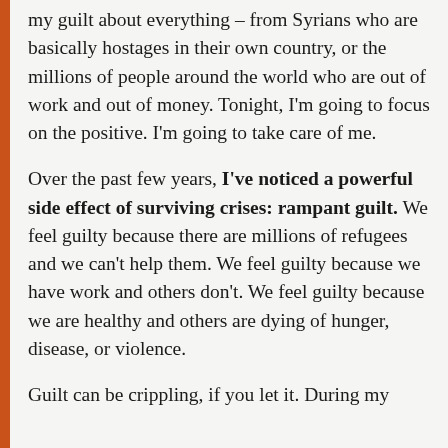my guilt about everything – from Syrians who are basically hostages in their own country, or the millions of people around the world who are out of work and out of money. Tonight, I'm going to focus on the positive. I'm going to take care of me.
Over the past few years, I've noticed a powerful side effect of surviving crises: rampant guilt. We feel guilty because there are millions of refugees and we can't help them. We feel guilty because we have work and others don't. We feel guilty because we are healthy and others are dying of hunger, disease, or violence.
Guilt can be crippling, if you let it. During my